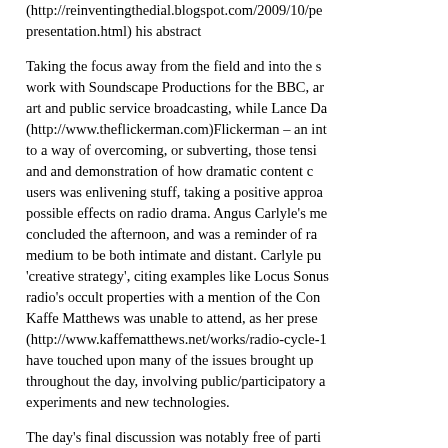(http://reinventingthedial.blogspot.com/2009/10/pe presentation.html) his abstract
Taking the focus away from the field and into the s work with Soundscape Productions for the BBC, ar art and public service broadcasting, while Lance Da (http://www.theflickerman.com)Flickerman – an int to a way of overcoming, or subverting, those tensi and and demonstration of how dramatic content c users was enlivening stuff, taking a positive approa possible effects on radio drama. Angus Carlyle's m concluded the afternoon, and was a reminder of ra medium to be both intimate and distant. Carlyle pu 'creative strategy', citing examples like Locus Sonus radio's occult properties with a mention of the Con Kaffe Matthews was unable to attend, as her prese (http://www.kaffematthews.net/works/radio-cycle-1 have touched upon many of the issues brought up throughout the day, involving public/participatory a experiments and new technologies.
The day's final discussion was notably free of parti argument across – a common hazard at such ever well as talking went on as Magz initiated debates a techniques, relationships with the media industry